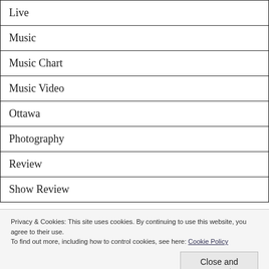Live
Music
Music Chart
Music Video
Ottawa
Photography
Review
Show Review
Privacy & Cookies: This site uses cookies. By continuing to use this website, you agree to their use.
To find out more, including how to control cookies, see here: Cookie Policy
Close and accept
CKCU FM